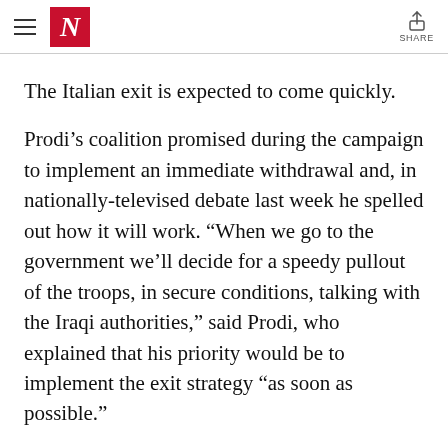N | SHARE
The Italian exit is expected to come quickly.
Prodi’s coalition promised during the campaign to implement an immediate withdrawal and, in nationally-televised debate last week he spelled out how it will work. “When we go to the government we’ll decide for a speedy pullout of the troops, in secure conditions, talking with the Iraqi authorities,” said Prodi, who explained that his priority would be to implement the exit strategy “as soon as possible.”